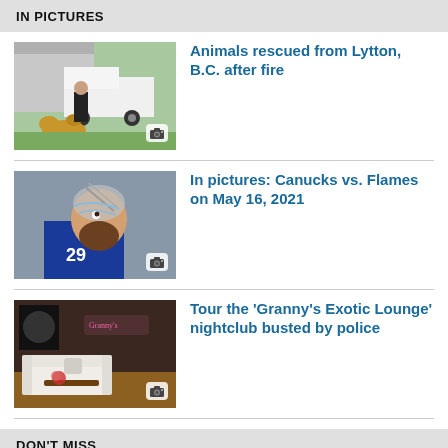IN PICTURES
[Figure (photo): Person with a large golden dog next to a white truck outside a building]
Animals rescued from Lytton, B.C. after fire
[Figure (photo): Hockey player with damaged helmet looking up]
In pictures: Canucks vs. Flames on May 16, 2021
[Figure (photo): Interior of a lounge/nightclub with white sofa and pink neon sign]
Tour the 'Granny's Exotic Lounge' nightclub busted by police
DON'T MISS